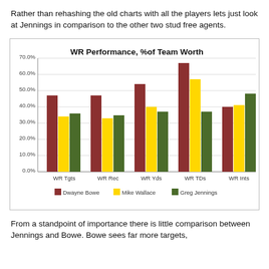Rather than rehashing the old charts with all the players lets just look at Jennings in comparison to the other two stud free agents.
[Figure (grouped-bar-chart): WR Performance, %of Team Worth]
From a standpoint of importance there is little comparison between Jennings and Bowe. Bowe sees far more targets,